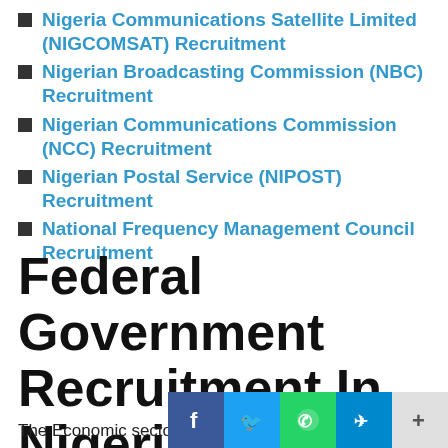Nigeria Communications Satellite Limited (NIGCOMSAT) Recruitment
Nigerian Broadcasting Commission (NBC) Recruitment
Nigerian Communications Commission (NCC) Recruitment
Nigerian Postal Service (NIPOST) Recruitment
National Frequency Management Council Recruitment
Federal Government Recruitment In Nigeria -Economy 2020/2021
The Economic sector in Nigeria is booming and the